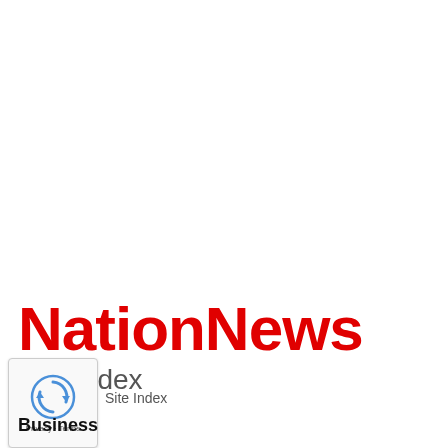[Figure (logo): NationNews logo in bold red text]
Site Index
[Figure (other): reCAPTCHA privacy badge with rotating arrow icon and Privacy - Terms text]
Business